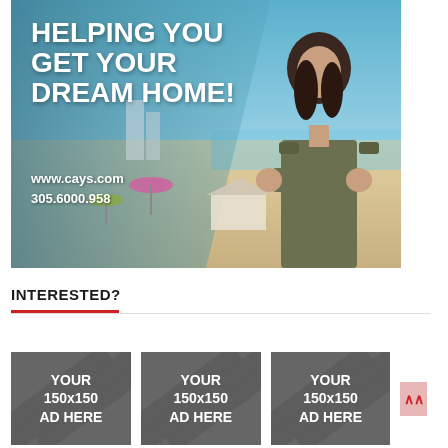[Figure (photo): Real estate advertisement banner showing a beach scene with a woman with crossed arms on the right side and bold white text on the left reading 'HELPING YOU GET YOUR DREAM HOME!' with website www.cays.com and phone 305.6000.958]
INTERESTED?
[Figure (other): Three gray placeholder advertisement boxes labeled 'YOUR 150x150 AD HERE' side by side]